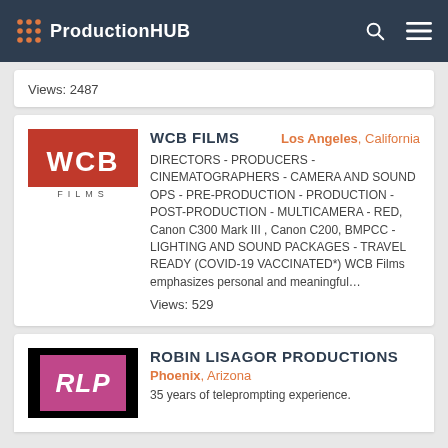ProductionHUB
Views: 2487
WCB FILMS
Los Angeles, California
[Figure (logo): WCB FILMS logo — red background with white WCB text and FILMS below]
DIRECTORS - PRODUCERS - CINEMATOGRAPHERS - CAMERA AND SOUND OPS - PRE-PRODUCTION - PRODUCTION - POST-PRODUCTION - MULTICAMERA - RED, Canon C300 Mark III , Canon C200, BMPCC - LIGHTING AND SOUND PACKAGES - TRAVEL READY (COVID-19 VACCINATED*) WCB Films emphasizes personal and meaningful...
Views: 529
ROBIN LISAGOR PRODUCTIONS
Phoenix, Arizona
[Figure (logo): RLP logo — black background with magenta/pink box containing white italic RLP text]
35 years of teleprompting experience.